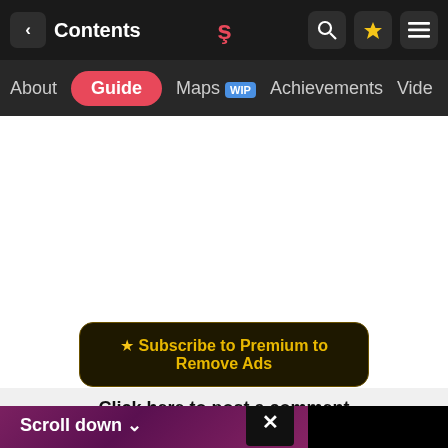< Contents [logo] [search] [star] [menu]
About  Guide  Maps WIP  Achievements  Vide
[Figure (screenshot): White blank content area]
★ Subscribe to Premium to Remove Ads
Click here to post a comment
[Figure (screenshot): Purple gradient overlay panel with Scroll down arrow and X close button, plus black panel on the right]